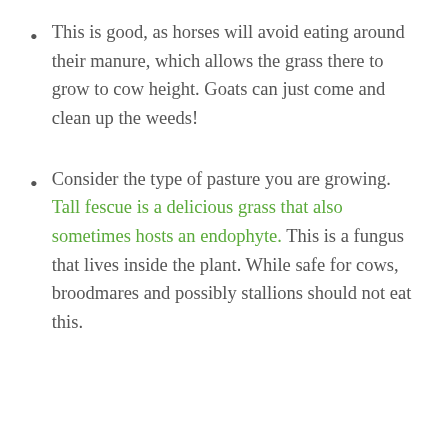This is good, as horses will avoid eating around their manure, which allows the grass there to grow to cow height. Goats can just come and clean up the weeds!
Consider the type of pasture you are growing. Tall fescue is a delicious grass that also sometimes hosts an endophyte. This is a fungus that lives inside the plant. While safe for cows, broodmares and possibly stallions should not eat this.